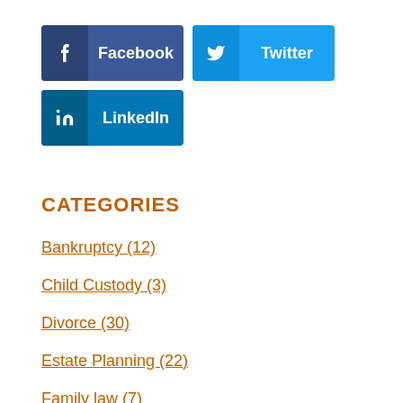[Figure (other): Social media share buttons: Facebook (dark blue), Twitter (light blue), LinkedIn (medium blue)]
CATEGORIES
Bankruptcy (12)
Child Custody (3)
Divorce (30)
Estate Planning (22)
Family law (7)